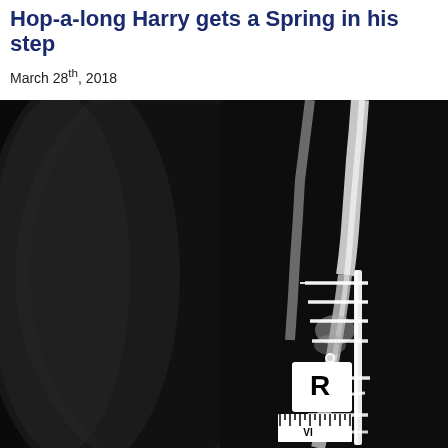Hop-a-long Harry gets a Spring in his step
March 28th, 2018
[Figure (photo): X-ray image of a leg/limb bone with a metal plate and screws (orthopedic fixation hardware) attached to the bone. The image is displayed on a dark background and includes a radiographic marker labeled 'R' with measurement scale markings.]